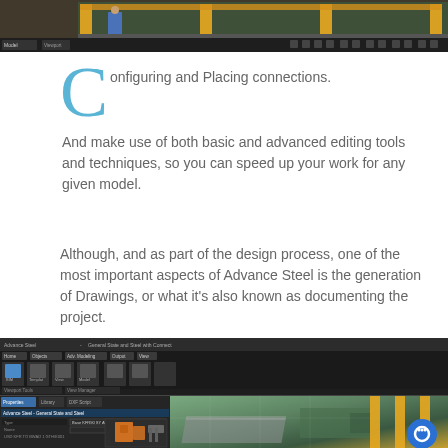[Figure (screenshot): Screenshot of Advance Steel 3D model view showing structural beams and a person in the workspace, with yellow pillars and toolbar at bottom]
Configuring and Placing connections.

And make use of both basic and advanced editing tools and techniques, so you can speed up your work for any given model.
Although, and as part of the design process, one of the most important aspects of Advance Steel is the generation of Drawings, or what it's also known as documenting the project.
[Figure (screenshot): Screenshot of Advance Steel software showing ribbon toolbar, a properties/configuration dialog panel on the left with connection details, and a 3D model viewport on the right with green landscape and yellow structural columns, plus a blue chat bubble icon]